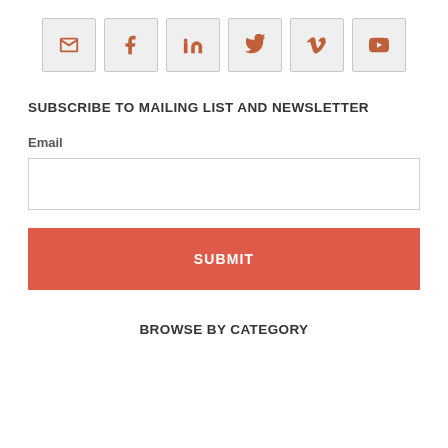[Figure (illustration): Row of six social media icon buttons: email, Facebook, LinkedIn, Twitter, Vimeo, YouTube — each in a light gray rounded square border]
SUBSCRIBE TO MAILING LIST AND NEWSLETTER
Email
SUBMIT
BROWSE BY CATEGORY